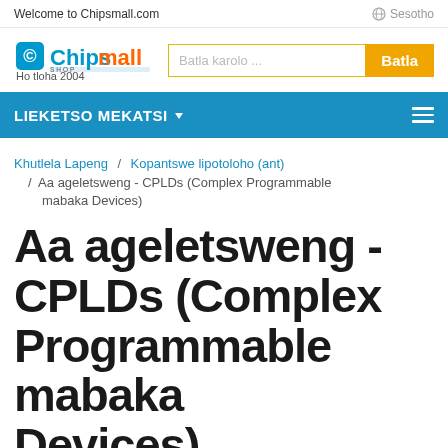Welcome to Chipsmall.com
[Figure (logo): Chipsmall logo with chip icon, colored text 'Chips' in blue and 'mall' in orange, subtitle text, and 'Ho tloha 2004' below]
Batla karolo ...
Batla
LIEKETSO MEKATSI
Khutlela Lapeng / Kopantswe lipotoloho (ant) / Aa ageletsweng - CPLDs (Complex Programmable mabaka Devices)
Aa ageletsweng - CPLDs (Complex Programmable mabaka Devices)